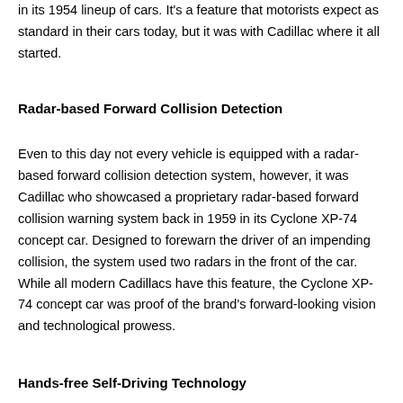in its 1954 lineup of cars. It's a feature that motorists expect as standard in their cars today, but it was with Cadillac where it all started.
Radar-based Forward Collision Detection
Even to this day not every vehicle is equipped with a radar-based forward collision detection system, however, it was Cadillac who showcased a proprietary radar-based forward collision warning system back in 1959 in its Cyclone XP-74 concept car. Designed to forewarn the driver of an impending collision, the system used two radars in the front of the car. While all modern Cadillacs have this feature, the Cyclone XP-74 concept car was proof of the brand's forward-looking vision and technological prowess.
Hands-free Self-Driving Technology